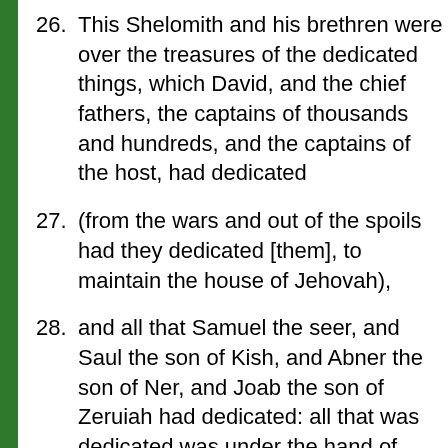26. This Shelomith and his brethren were over the treasures of the dedicated things, which David, and the chief fathers, the captains of thousands and hundreds, and the captains of the host, had dedicated
27. (from the wars and out of the spoils had they dedicated [them], to maintain the house of Jehovah),
28. and all that Samuel the seer, and Saul the son of Kish, and Abner the son of Ner, and Joab the son of Zeruiah had dedicated: all that was dedicated was under the hand of Shelomith and his brethren.